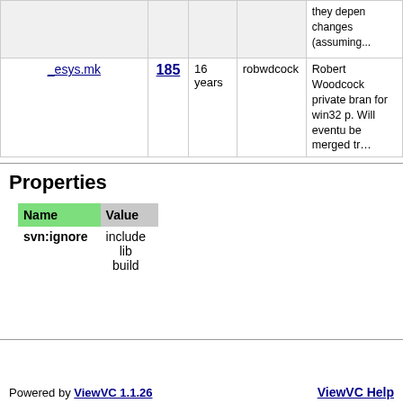| File | Rev | Age | Author | Last log entry |
| --- | --- | --- | --- | --- |
|  |  |  |  | they depen changes (assuming... |
| _esys.mk | 185 | 16 years | robwdcock | Robert Woodcock private bran for win32 p. Will eventu be merged tr… |
Properties
| Name | Value |
| --- | --- |
| svn:ignore | include
lib
build |
ViewVC Help
Powered by ViewVC 1.1.26